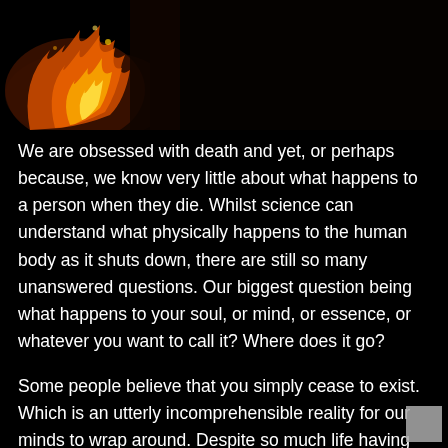[Figure (photo): Dark background with orange and yellow flames or burning fire in the upper-left area, fading to black on the right side.]
We are obsessed with death and yet, or perhaps because, we know very little about what happens to a person when they die. Whilst science can understand what physically happens to the human body as it shuts down, there are still so many unanswered questions. Our biggest question being what happens to your soul, or mind, or essence, or whatever you want to call it? Where does it go?
Some people believe that you simply cease to exist. Which is an utterly incomprehensible reality for our minds to wrap around. Despite so much life having happened before we are born and so it will simply continue going on through the eras, as each of our lives flit in and out. Our lives, loves, and